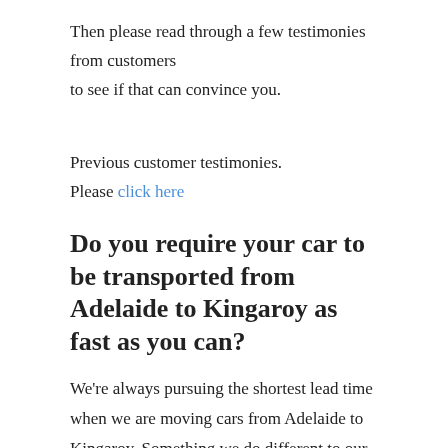Then please read through a few testimonies from customers to see if that can convince you.
Previous customer testimonies.
Please click here
Do you require your car to be transported from Adelaide to Kingaroy as fast as you can?
We're always pursuing the shortest lead time when we are moving cars from Adelaide to Kingaroy. Something we do different to our competitors we're aware that people need their cars, so we make sure we do everything possible to get them to our customer as fast as we're able to.